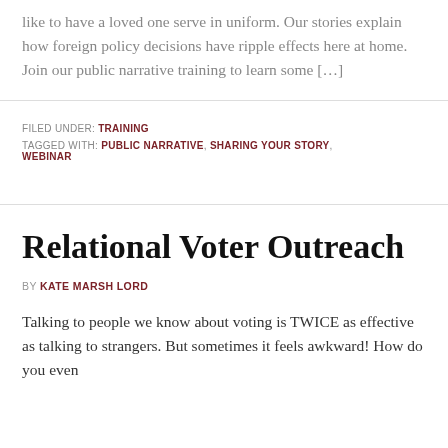like to have a loved one serve in uniform. Our stories explain how foreign policy decisions have ripple effects here at home. Join our public narrative training to learn some […]
FILED UNDER: TRAINING
TAGGED WITH: PUBLIC NARRATIVE, SHARING YOUR STORY, WEBINAR
Relational Voter Outreach
BY KATE MARSH LORD
Talking to people we know about voting is TWICE as effective as talking to strangers. But sometimes it feels awkward! How do you even